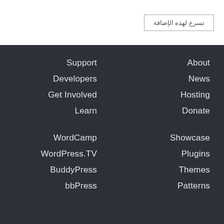تسرع لهذه الإضافة
Support
About
Developers
News
Get Involved
Hosting
Learn
Donate
WordCamp
Showcase
WordPress.TV
Plugins
BuddyPress
Themes
bbPress
Patterns